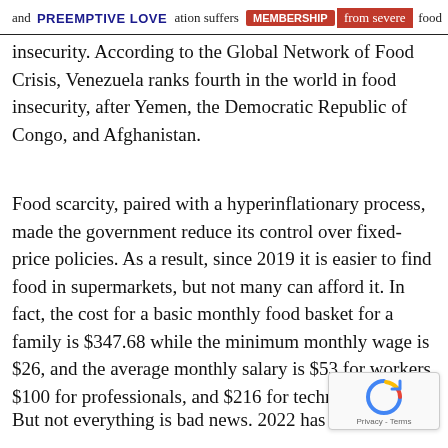and 6.5% of the population suffers from severe food
insecurity. According to the Global Network of Food Crisis, Venezuela ranks fourth in the world in food insecurity, after Yemen, the Democratic Republic of Congo, and Afghanistan.
Food scarcity, paired with a hyperinflationary process, made the government reduce its control over fixed-price policies. As a result, since 2019 it is easier to find food in supermarkets, but not many can afford it. In fact, the cost for a basic monthly food basket for a family is $347.68 while the minimum monthly wage is $26, and the average monthly salary is $53 for workers, $100 for professionals, and $216 for technicians.
But not everything is bad news. 2022 has finally s...